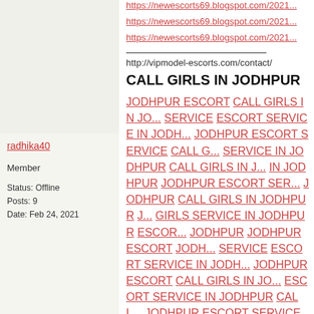https://newescorts69.blogspot.com/2021...
https://newescorts69.blogspot.com/2021...
https://newescorts69.blogspot.com/2021...
http://vipmodel-escorts.com/contact/
radhika40
Member
Status: Offline
Posts: 9
Date: Feb 24, 2021
CALL GIRLS IN JODHPUR
JODHPUR ESCORT CALL GIRLS IN JODHPUR ESCORT SERVICE ESCORT SERVICE IN JODHPUR JODHPUR ESCORT SERVICE CALL GIRLS SERVICE IN JODHPUR CALL GIRLS IN JODHPUR JODHPUR ESCORT SERVICE IN JODHPUR CALL GIRLS IN JODHPUR JODHPUR CALL GIRLS SERVICE IN JODHPUR ESCORT IN JODHPUR JODHPUR ESCORT JODHPUR ESCORT SERVICE ESCORT SERVICE IN JODHPUR JODHPUR ESCORT CALL GIRLS IN JODHPUR ESCORT SERVICE IN JODHPUR CALL GIRLS IN JODHPUR JODHPUR ESCORT SERVICE CALL GIRLS IN JODHPUR JODHPUR CALL GIRLS SERVICE IN JODHPUR JODHPUR JODHPUR ESCORT SERVICE GIRLS IN JODHPUR JODHPUR ESCORT SERVICE IN JODHPUR ESCORT SERVICE JODHPUR ESCORT CALL GIRLS IN JODHPUR